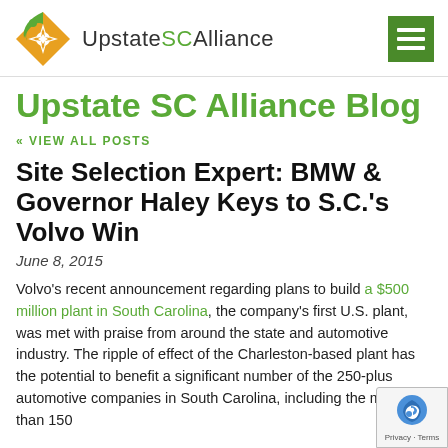Upstate SC Alliance
Upstate SC Alliance Blog
« VIEW ALL POSTS
Site Selection Expert: BMW & Governor Haley Keys to S.C.'s Volvo Win
June 8, 2015
Volvo's recent announcement regarding plans to build a $500 million plant in South Carolina, the company's first U.S. plant, was met with praise from around the state and automotive industry. The ripple of effect of the Charleston-based plant has the potential to benefit a significant number of the 250-plus automotive companies in South Carolina, including the more than 150